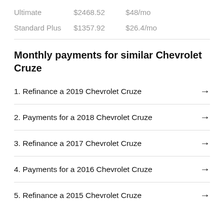|  | Amount | Monthly |
| --- | --- | --- |
| Ultimate | $2468.52 | $48/mo |
| Standard Plus | $1357.92 | $26.4/mo |
Monthly payments for similar Chevrolet Cruze
1. Refinance a 2019 Chevrolet Cruze
2. Payments for a 2018 Chevrolet Cruze
3. Refinance a 2017 Chevrolet Cruze
4. Payments for a 2016 Chevrolet Cruze
5. Refinance a 2015 Chevrolet Cruze